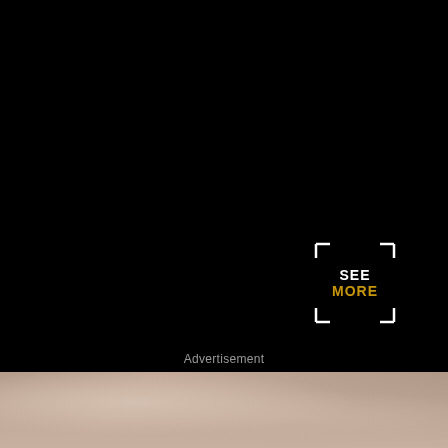BANGBRO
ORAL
ROUGH
[Figure (screenshot): Dark video player area with SEE MORE overlay button in bracket frame, white text SEE and golden text MORE]
Advertisement
[Figure (photo): Bottom portion showing a blurred close-up photo with skin tones]